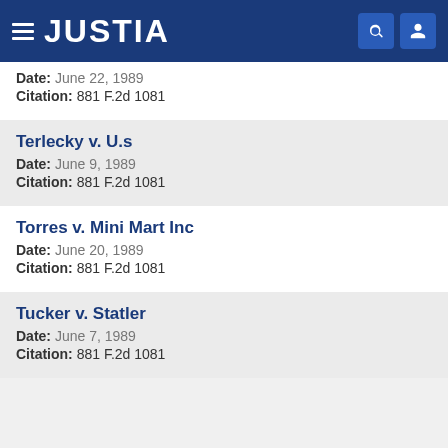JUSTIA
Date: June 22, 1989
Citation: 881 F.2d 1081
Terlecky v. U.s
Date: June 9, 1989
Citation: 881 F.2d 1081
Torres v. Mini Mart Inc
Date: June 20, 1989
Citation: 881 F.2d 1081
Tucker v. Statler
Date: June 7, 1989
Citation: 881 F.2d 1081